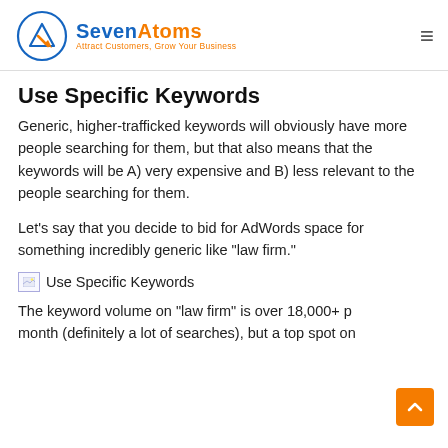SevenAtoms — Attract Customers, Grow Your Business
Use Specific Keywords
Generic, higher-trafficked keywords will obviously have more people searching for them, but that also means that the keywords will be A) very expensive and B) less relevant to the people searching for them.
Let’s say that you decide to bid for AdWords space for something incredibly generic like “law firm.”
[Figure (illustration): Image placeholder with alt text 'Use Specific Keywords']
The keyword volume on “law firm” is over 18,000+ p… month (definitely a lot of searches), but a top spot on